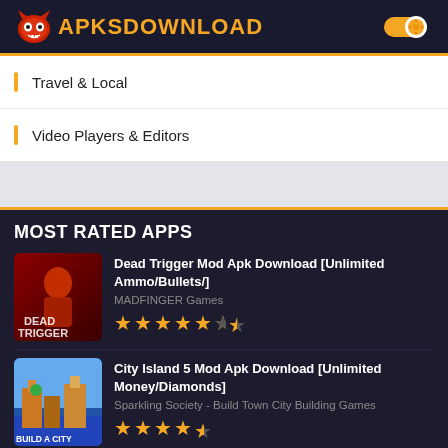APKSDOWNLOAD
Travel & Local
Video Players & Editors
MOST RATED APPS
Dead Trigger Mod Apk Download [Unlimited Ammo/Bullets/] — MADFINGER Games — 4.5 stars
City Island 5 Mod Apk Download [Unlimited Money/Diamonds] — Sparkling Society - Build Town City Building Games — 4.5 stars
Hoverboard Bus Simulator Mod APK Download [Unlimited...